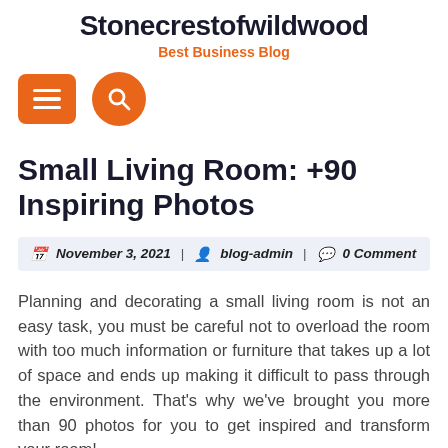Stonecrestofwildwood
Best Business Blog
[Figure (other): Navigation bar with orange hamburger menu button and orange circular search button]
Small Living Room: +90 Inspiring Photos
November 3, 2021 | blog-admin | 0 Comment
Planning and decorating a small living room is not an easy task, you must be careful not to overload the room with too much information or furniture that takes up a lot of space and ends up making it difficult to pass through the environment. That's why we've brought you more than 90 photos for you to get inspired and transform your room!